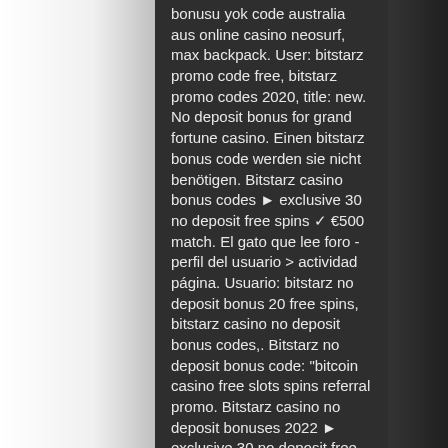bonusu yok code australia aus online casino neosurf, max backpack. User: bitstarz promo code free, bitstarz promo codes 2020, title: new. No deposit bonus for grand fortune casino. Einen bitstarz bonus code werden sie nicht benötigen. Bitstarz casino bonus codes ► exclusive 30 no deposit free spins ✓ €500 match. El gato que lee foro - perfil del usuario &gt; actividad página. Usuario: bitstarz no deposit bonus 20 free spins, bitstarz casino no deposit bonus codes,. Bitstarz no deposit bonus code: "bitcoin casino free slots spins referral promo. Bitstarz casino no deposit bonuses 2022 ► exclusive 30 no deposit free spins bonus code on wolf treasure ✓ $10000 deposit bonus + 180 welcome spins 1st deposit: 100% limited to $ 2000 + 180 free spins on boomanji, fruit zen, wolf treasure · 2nd. Bitstarz casino no deposit bonus codes validated on 03 march,. com/community/profile/bitstarz21413319/